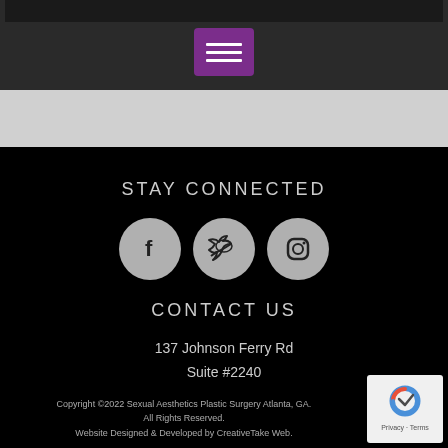[Figure (screenshot): Dark navigation bar at top with purple hamburger menu button centered]
STAY CONNECTED
[Figure (infographic): Three circular social media icons: Facebook, Twitter, Instagram on dark background]
CONTACT US
137 Johnson Ferry Rd
Suite #2240
Marietta, GA 30068
Phone: 404.255.3555
Copyright ©2022 Sexual Aesthetics Plastic Surgery Atlanta, GA. All Rights Reserved. Website Designed & Developed by CreativeTake Web.